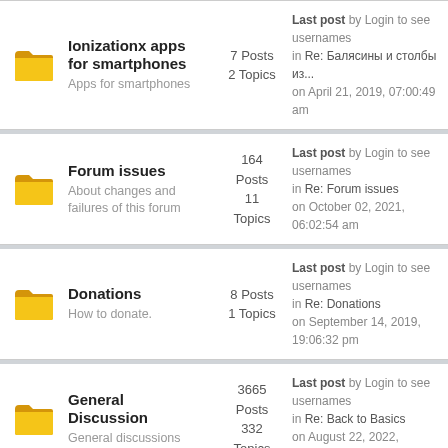Ionizationx apps for smartphones | Apps for smartphones | 7 Posts 2 Topics | Last post by Login to see usernames in Re: Балясины и столбы из... on April 21, 2019, 07:00:49 am
Forum issues | About changes and failures of this forum | 164 Posts 11 Topics | Last post by Login to see usernames in Re: Forum issues on October 02, 2021, 06:02:54 am
Donations | How to donate. | 8 Posts 1 Topics | Last post by Login to see usernames in Re: Donations on September 14, 2019, 19:06:32 pm
General Discussion | General discussions | 3665 Posts 332 Topics | Last post by Login to see usernames in Re: Back to Basics on August 22, 2022, 18:15:13 pm
Getting Together | 142 Posts | Last post by Login to see usernames